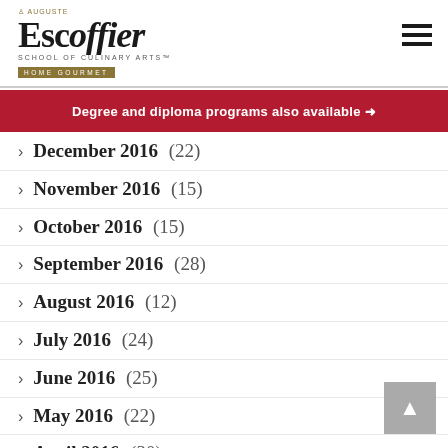[Figure (logo): Auguste Escoffier School of Culinary Arts Home Gourmet logo with crown and navigation hamburger menu]
Degree and diploma programs also available →
December 2016 (22)
November 2016 (15)
October 2016 (15)
September 2016 (28)
August 2016 (12)
July 2016 (24)
June 2016 (25)
May 2016 (22)
April 2016 (30)